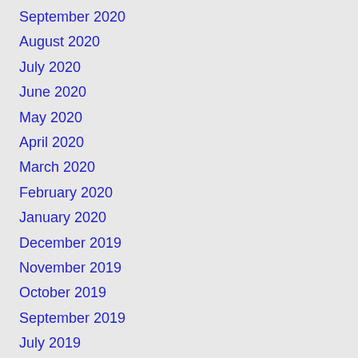September 2020
August 2020
July 2020
June 2020
May 2020
April 2020
March 2020
February 2020
January 2020
December 2019
November 2019
October 2019
September 2019
July 2019
May 2019
April 2019
February 2019
January 2019
November 2018
October 2018
September 2018